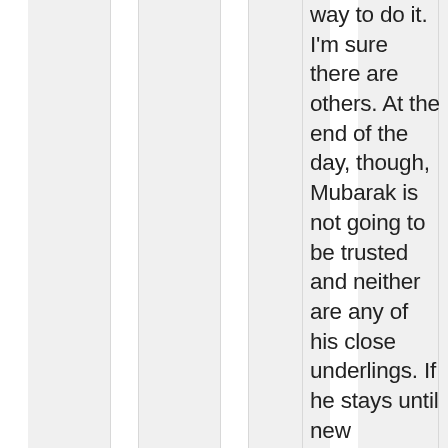way to do it. I'm sure there are others. At the end of the day, though, Mubarak is not going to be trusted and neither are any of his close underlings. If he stays until new elections are held, the people won't trust the results and there's every opportunity for Egypt to